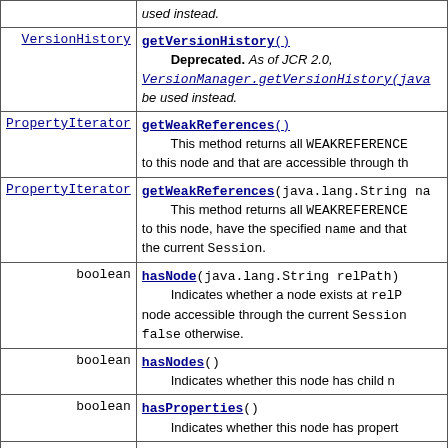| Type | Method and Description |
| --- | --- |
|  | used instead. |
| VersionHistory | getVersionHistory()
Deprecated. As of JCR 2.0, VersionManager.getVersionHistory(java... be used instead. |
| PropertyIterator | getWeakReferences()
This method returns all WEAKREFERENCE to this node and that are accessible through th... |
| PropertyIterator | getWeakReferences(java.lang.String na...
This method returns all WEAKREFERENCE to this node, have the specified name and that... the current Session. |
| boolean | hasNode(java.lang.String relPath)
Indicates whether a node exists at relP... node accessible through the current Session ... false otherwise. |
| boolean | hasNodes()
Indicates whether this node has child n... |
| boolean | hasProperties()
Indicates whether this node has propert... |
| boolean | hasProperty(java.lang.String relPath)
Indicates whether a property exists at r... if a property accessible through the current Se... |